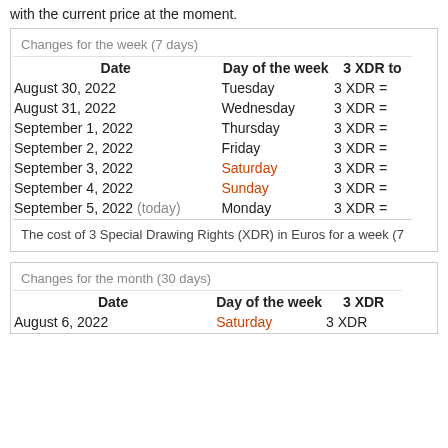with the current price at the moment.
| Date | Day of the week | 3 XDR to |
| --- | --- | --- |
| August 30, 2022 | Tuesday | 3 XDR = |
| August 31, 2022 | Wednesday | 3 XDR = |
| September 1, 2022 | Thursday | 3 XDR = |
| September 2, 2022 | Friday | 3 XDR = |
| September 3, 2022 | Saturday | 3 XDR = |
| September 4, 2022 | Sunday | 3 XDR = |
| September 5, 2022 (today) | Monday | 3 XDR = |
The cost of 3 Special Drawing Rights (XDR) in Euros for a week (7
| Date | Day of the week | 3 XDR |
| --- | --- | --- |
| August 6, 2022 | Saturday | 3 XDR |